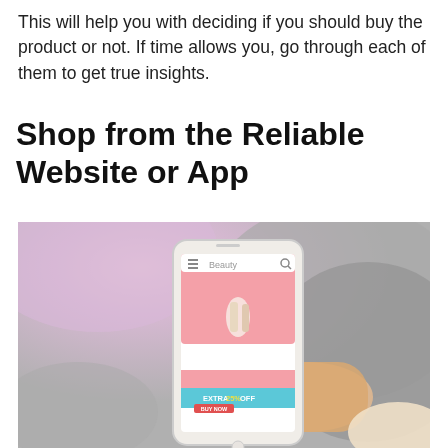This will help you with deciding if you should buy the product or not. If time allows you, go through each of them to get true insights.
Shop from the Reliable Website or App
[Figure (photo): A hand holding a smartphone displaying a pink shopping app with a banner reading 'EXTRA 25% OFF BUY NOW', with a blurred gray carpet and pink background behind.]